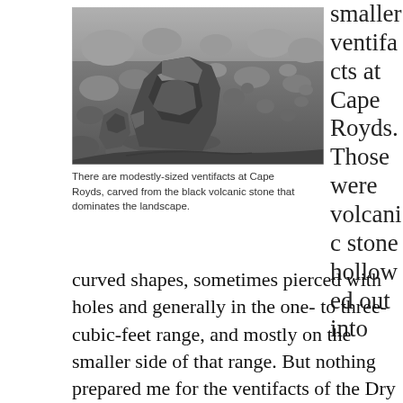[Figure (photo): Black and white photograph of a large wind-carved volcanic rock (ventifact) on a rocky surface at Cape Royds, Antarctica. The angular, sculptured rock is prominent in the foreground with many smaller rounded rocks visible in the background.]
There are modestly-sized ventifacts at Cape Royds, carved from the black volcanic stone that dominates the landscape.
smaller ventifacts at Cape Royds. Those were volcanic stone hollowed out into curved shapes, sometimes pierced with holes and generally in the one- to three-cubic-feet range, and mostly on the smaller side of that range. But nothing prepared me for the ventifacts of the Dry Valleys. It was a steady climb for some time and then we came over a ridge where the ground was strewn with huge granite boulders curved, hollowed and pierced